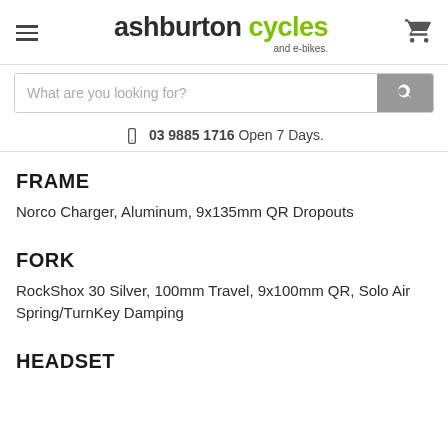ashburton cycles and e-bikes.
What are you looking for?
03 9885 1716 Open 7 Days.
FRAME
Norco Charger, Aluminum, 9x135mm QR Dropouts
FORK
RockShox 30 Silver, 100mm Travel, 9x100mm QR, Solo Air Spring/TurnKey Damping
HEADSET